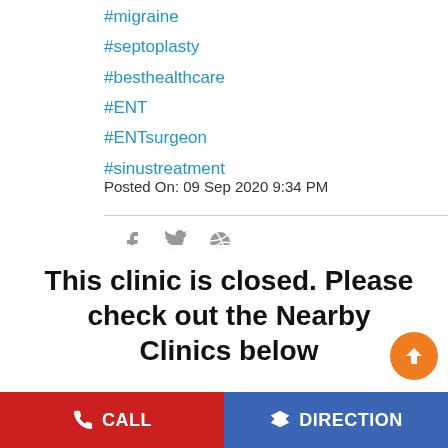#migraine
#septoplasty
#besthealthcare
#ENT
#ENTsurgeon
#sinustreatment
Posted On: 09 Sep 2020 9:34 PM
This clinic is closed. Please check out the Nearby Clinics below
experiencing can help the person treat it and understand whether to see a doctor. #headache #migraine #sinus #allergy #clusterheadache #health
CALL   DIRECTION